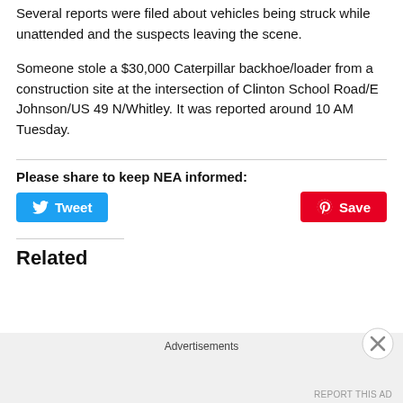Several reports were filed about vehicles being struck while unattended and the suspects leaving the scene.
Someone stole a $30,000 Caterpillar backhoe/loader from a construction site at the intersection of Clinton School Road/E Johnson/US 49 N/Whitley. It was reported around 10 AM Tuesday.
Please share to keep NEA informed:
[Figure (other): Tweet button (Twitter/X share button, blue rounded rectangle with bird icon and 'Tweet' label)]
[Figure (other): Save button (Pinterest share button, red rounded rectangle with Pinterest icon and 'Save' label)]
Related
Advertisements